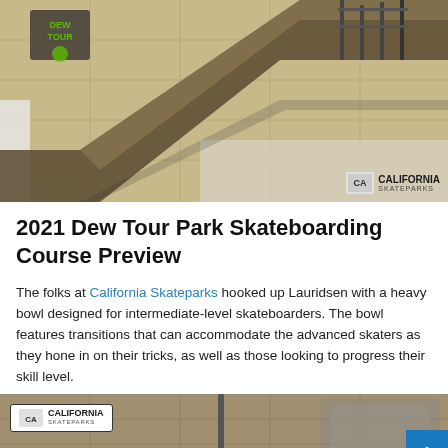[Figure (photo): 3D rendering of a skateboarding park course with ramps and rails, showing wooden deck surfaces with green branding elements and metal structures. California Skateparks logo visible in bottom right corner.]
2021 Dew Tour Park Skateboarding Course Preview
The folks at California Skateparks hooked up Lauridsen with a heavy bowl designed for intermediate-level skateboarders. The bowl features transitions that can accommodate the advanced skaters as they hone in on their tricks, as well as those looking to progress their skill level.
[Figure (photo): Bottom portion of a 3D rendering of the skateboarding park course, showing the California Skateparks logo in the top left and a vertical pole/rail in the center of the image.]